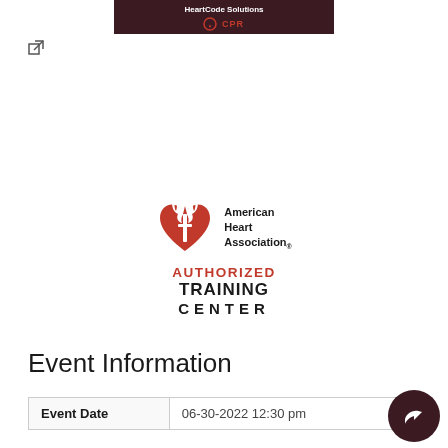[Figure (logo): CPR training logo banner with dark maroon background, white text and red CPR text with heart icon]
[Figure (logo): American Heart Association Authorized Training Center logo with red heart/flame icon and bold text]
Event Information
| Event Date |  |
| --- | --- |
| Event Date | 06-30-2022 12:30 pm |